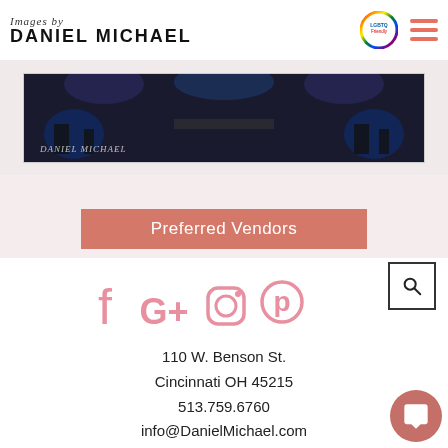Images by DANIEL MICHAEL
[Figure (photo): Dark stage/concert photo with DANIEL MICHAEL watermark text]
Preferred Vendors
[Figure (infographic): Social media icons: Facebook, Google+, Instagram, Pinterest in pink]
110 W. Benson St.
Cincinnati OH 45215
513.759.6760
info@DanielMichael.com